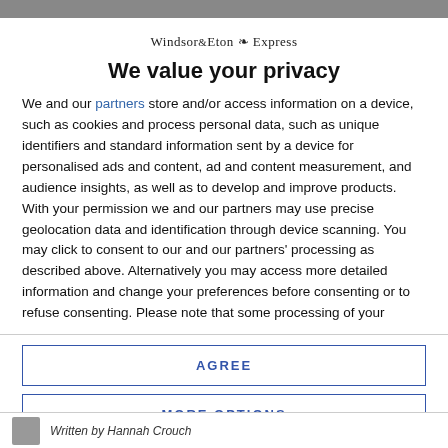Windsor & Eton Express
We value your privacy
We and our partners store and/or access information on a device, such as cookies and process personal data, such as unique identifiers and standard information sent by a device for personalised ads and content, ad and content measurement, and audience insights, as well as to develop and improve products. With your permission we and our partners may use precise geolocation data and identification through device scanning. You may click to consent to our and our partners' processing as described above. Alternatively you may access more detailed information and change your preferences before consenting or to refuse consenting. Please note that some processing of your
AGREE
MORE OPTIONS
Written by Hannah Crouch